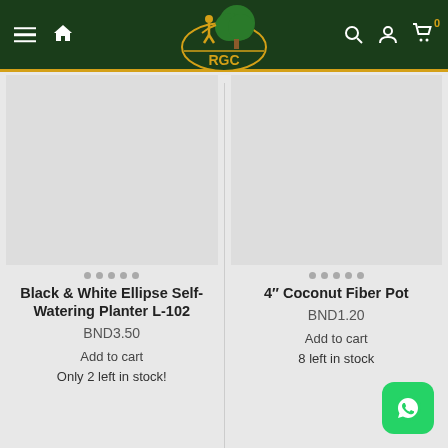RGC navigation header
Black & White Ellipse Self-Watering Planter L-102
BND3.50
Add to cart
Only 2 left in stock!
4" Coconut Fiber Pot
BND1.20
Add to cart
8 left in stock